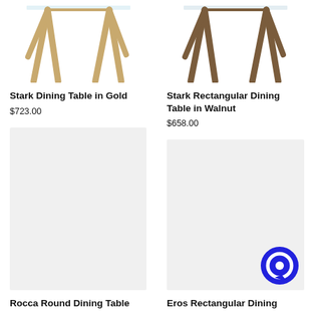[Figure (photo): Stark Dining Table in Gold - glass top with light wood X-shaped legs, top portion visible]
Stark Dining Table in Gold
$723.00
[Figure (photo): Stark Rectangular Dining Table in Walnut - glass top with dark walnut X-shaped legs, top portion visible]
Stark Rectangular Dining Table in Walnut
$658.00
[Figure (photo): Rocca Round Dining Table - gray placeholder image]
Rocca Round Dining Table
[Figure (photo): Eros Rectangular Dining Table - gray placeholder image with blue chat icon overlay]
Eros Rectangular Dining